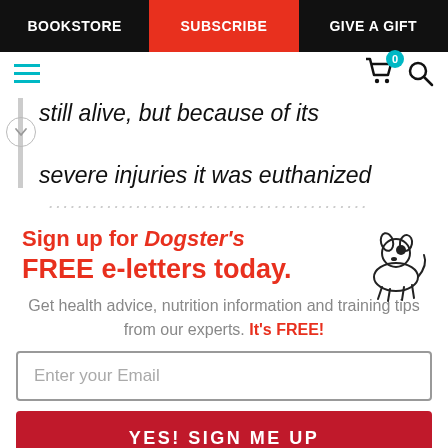BOOKSTORE | SUBSCRIBE | GIVE A GIFT
still alive, but because of its severe injuries it was euthanized
Sign up for Dogster's FREE e-letters today. Get health advice, nutrition information and training tips from our experts. It's FREE!
Enter your Email
YES! SIGN ME UP